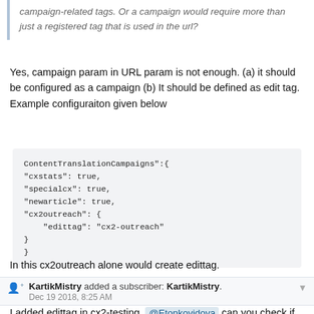campaign-related tags. Or a campaign would require more than just a registered tag that is used in the url?
Yes, campaign param in URL param is not enough. (a) it should be configured as a campaign (b) It should be defined as edit tag. Example configuraiton given below
ContentTranslationCampaigns":{
"cxstats": true,
"specialcx": true,
"newarticle": true,
"cx2outreach": {
    "edittag": "cx2-outreach"
}
}
In this cx2outreach alone would create edittag.
KartikMistry added a subscriber: KartikMistry.
Dec 19 2018, 8:25 AM
I added edittag in cx2-testing. @Etonkovidova can you check if that working properly?